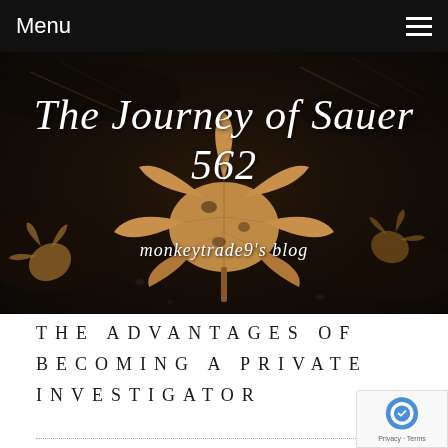Menu
[Figure (photo): Dark moody background with dried autumn maple leaf on dark soil/ground, serving as hero banner for the blog 'The Journey of Sauer 562']
The Journey of Sauer 562
monkeytrade9's blog
THE ADVANTAGES OF BECOMING A PRIVATE INVESTIGATOR
March 25, 2020
A Private Investigator may be a kind of detective or spy that is around for many years and has a very important job. Today Personal Investigators are usually